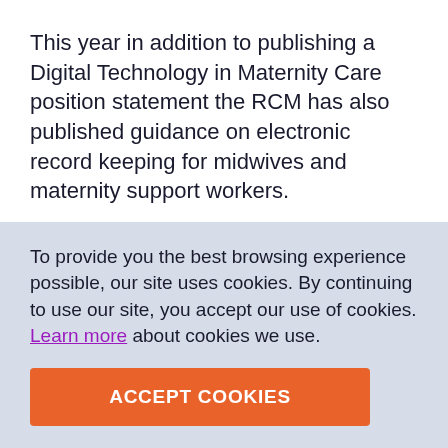This year in addition to publishing a Digital Technology in Maternity Care position statement the RCM has also published guidance on electronic record keeping for midwives and maternity support workers.
ENDS
To provide you the best browsing experience possible, our site uses cookies. By continuing to use our site, you accept our use of cookies. Learn more about cookies we use.
ACCEPT COOKIES